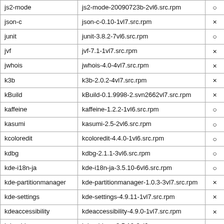|  |  |  |
| --- | --- | --- |
| js2-mode | js2-mode-20090723b-2vl6.src.rpm | ○ |
| json-c | json-c-0.10-1vl7.src.rpm | × |
| junit | junit-3.8.2-7vl6.src.rpm | ○ |
| jvf | jvf-7.1-1vl7.src.rpm | × |
| jwhois | jwhois-4.0-4vl7.src.rpm | × |
| k3b | k3b-2.0.2-4vl7.src.rpm | × |
| kBuild | kBuild-0.1.9998-2.svn2662vl7.src.rpm | × |
| kaffeine | kaffeine-1.2.2-1vl6.src.rpm | ○ |
| kasumi | kasumi-2.5-2vl6.src.rpm | ○ |
| kcoloredit | kcoloredit-4.4.0-1vl6.src.rpm | ○ |
| kdbg | kdbg-2.1.1-3vl6.src.rpm | ○ |
| kde-i18n-ja | kde-i18n-ja-3.5.10-6vl6.src.rpm | ○ |
| kde-partitionmanager | kde-partitionmanager-1.0.3-3vl7.src.rpm | × |
| kde-settings | kde-settings-4.9.11-1vl7.src.rpm | × |
| kdeaccessibility | kdeaccessibility-4.9.0-1vl7.src.rpm | × |
| kdeaddons | kdeaddons-3.5.10-3vl6.src.rpm | ○ |
| kdeadmin | kdeadmin-4.11.1-1vl7.src.rpm | × |
| kdebase3 | kdebase3-3.5.10-4vl7.src.rpm | × |
| kdebindings | kdebindings-4.6.4-1vl6.src.rpm | ○ |
| kdeedu | kdeedu-4.9.0-1vl7.src.rpm | × |
| kdegames | kdegames-4.10.5-1vl7.src.rpm | × |
| kdegames3 | kdegames3-3.5.10-2vl6.src.rpm | ○ |